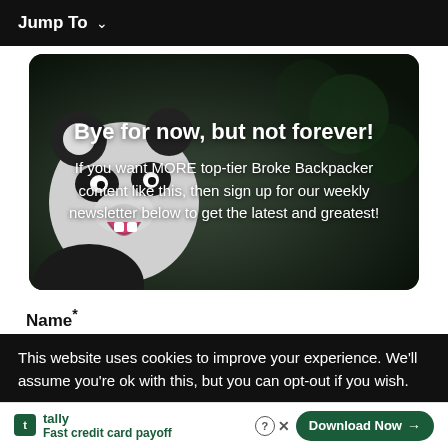Jump To ∨
[Figure (photo): A panda bear with mouth open, overlaid with newsletter signup text on a dark background. Title: 'Bye for now, but not forever!' with subtitle inviting users to sign up for the Broke Backpacker weekly newsletter.]
Name*
This website uses cookies to improve your experience. We'll assume you're ok with this, but you can opt-out if you wish.
tally — Fast credit card payoff — Download Now →